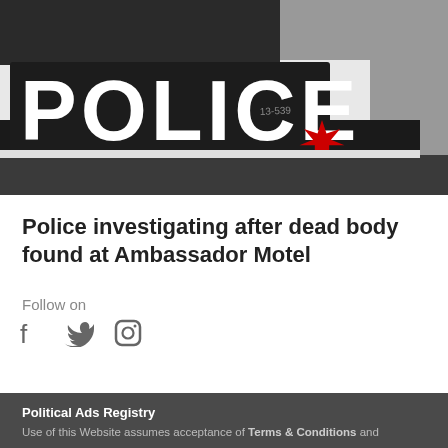[Figure (photo): Close-up photo of a Canadian police car showing the word POLICE in large black letters on white, with a red maple leaf emblem and the number 13-639 visible on the door]
Police investigating after dead body found at Ambassador Motel
Follow on
[Figure (other): Social media icons: Facebook, Twitter, Instagram]
Political Ads Registry
Use of this Website assumes acceptance of Terms & Conditions and